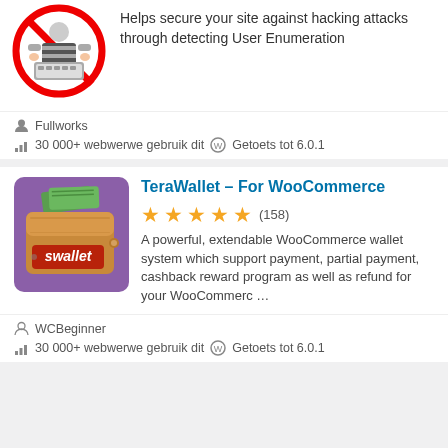[Figure (illustration): Security plugin icon: hacker with strikethrough circle symbol]
Helps secure your site against hacking attacks through detecting User Enumeration
Fullworks
30 000+ webwerwe gebruik dit   Getoets tot 6.0.1
[Figure (illustration): TeraWallet plugin icon: brown leather wallet with money and 'swallet' text on purple background]
TeraWallet – For WooCommerce
(158) — 5 star rating
A powerful, extendable WooCommerce wallet system which support payment, partial payment, cashback reward program as well as refund for your WooCommerc …
WCBeginner
30 000+ webwerwe gebruik dit   Getoets tot 6.0.1